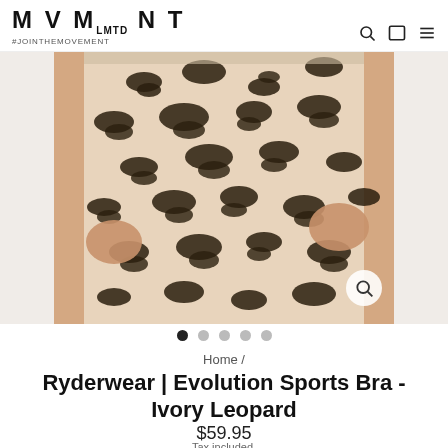MVMNT LMTD #JOINTHEMOVEMENT
[Figure (photo): Product photo of leopard print leggings/sports bra worn by a model, cropped at waist and thighs, ivory/cream background with black leopard spots pattern. Carousel dots below the image with 5 dots, first dot active.]
Home /
Ryderwear | Evolution Sports Bra - Ivory Leopard
$59.95
Tax included.